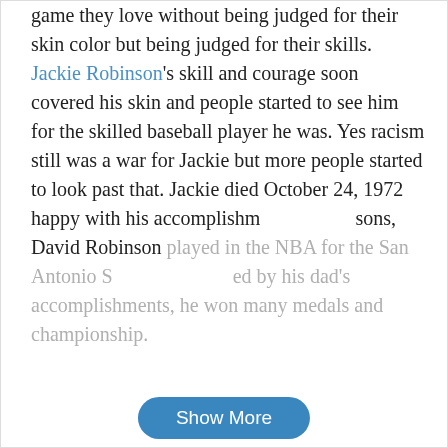game they love without being judged for their skin color but being judged for their skills. Jackie Robinson's skill and courage soon covered his skin and people started to see him for the skilled baseball player he was. Yes racism still was a war for Jackie but more people started to look past that. Jackie died October 24, 1972 happy with his accomplishments, his sons, David Robinson played in the NBA for the San Antonio Spurs, inspired by his dad's accomplishments, he won many medals and championship.
[Figure (screenshot): Show More button (blue, pill-shaped) overlaid on text]
[Figure (screenshot): Check Writing Quality button (green, pill-shaped) overlaid on text]